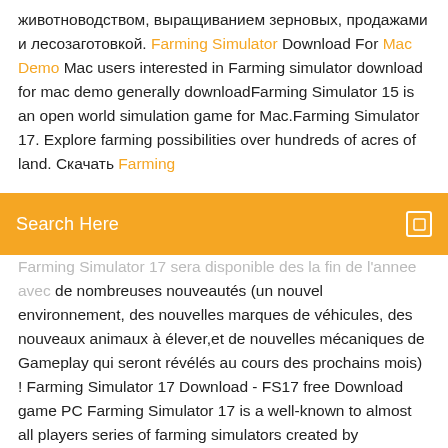животноводством, выращиванием зерновых, продажами и лесозаготовкой. Farming Simulator Download For Mac Demo Mac users interested in Farming simulator download for mac demo generally downloadFarming Simulator 15 is an open world simulation game for Mac.Farming Simulator 17. Explore farming possibilities over hundreds of acres of land. Скачать Farming
[Figure (screenshot): Orange search bar with 'Search Here' placeholder text and a search icon on the right]
Farming Simulator 17 sera disponible des la fin de l'annee avec de nombreuses nouveautés (un nouvel environnement, des nouvelles marques de véhicules, des nouveaux animaux à élever,et de nouvelles mécaniques de Gameplay qui seront révélés au cours des prochains mois) ! Farming Simulator 17 Download - FS17 free Download game PC Farming Simulator 17 is a well-known to almost all players series of farming simulators created by developer Giants Software which has been extremely popular since 2013. Farming Simulator 17 PC-MAC Jeu PC – RELOADED - Telecharger ... Farming Simulator